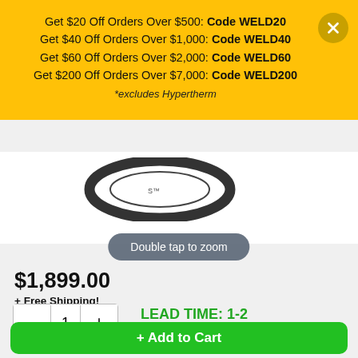Get $20 Off Orders Over $500: Code WELD20
Get $40 Off Orders Over $1,000: Code WELD40
Get $60 Off Orders Over $2,000: Code WELD60
Get $200 Off Orders Over $7,000: Code WELD200
*excludes Hypertherm
[Figure (photo): Circular ring/gasket product image, partial view]
Double tap to zoom
$1,899.00
+ Free Shipping!
LEAD TIME: 1-2 WEEKS
+ Add to Cart